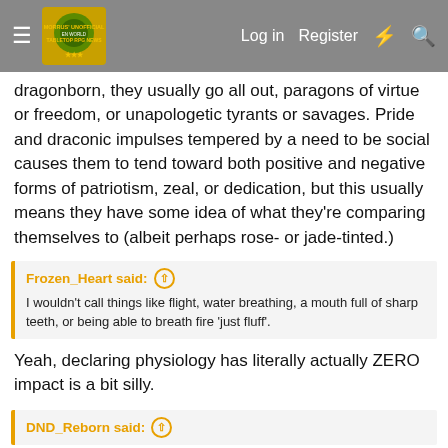Morrus' Unofficial Tabletop RPG News — Log in  Register
dragonborn, they usually go all out, paragons of virtue or freedom, or unapologetic tyrants or savages. Pride and draconic impulses tempered by a need to be social causes them to tend toward both positive and negative forms of patriotism, zeal, or dedication, but this usually means they have some idea of what they're comparing themselves to (albeit perhaps rose- or jade-tinted.)
Frozen_Heart said: I wouldn't call things like flight, water breathing, a mouth full of sharp teeth, or being able to breath fire 'just fluff'.
Yeah, declaring physiology has literally actually ZERO impact is a bit silly.
DND_Reborn said: